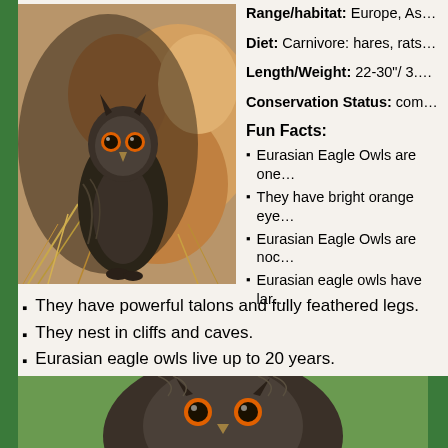[Figure (photo): Eurasian Eagle Owl perched among rocks and dry grass in a cave-like rocky alcove]
Range/habitat: Europe, As...
Diet: Carnivore: hares, rats...
Length/Weight: 22-30"/ 3....
Conservation Status: com...
Fun Facts:
Eurasian Eagle Owls are one...
They have bright orange eye...
Eurasian Eagle Owls are noc...
Eurasian eagle owls have lar...
They have powerful talons and fully feathered legs.
They nest in cliffs and caves.
Eurasian eagle owls live up to 20 years.
WOW! These big owls are so awesome! Do you think it's creepy whe... wish you could see these creatures of the night? Check out this video... find them!
[Figure (photo): Close-up photo of a Eurasian Eagle Owl facing the camera, with green background]